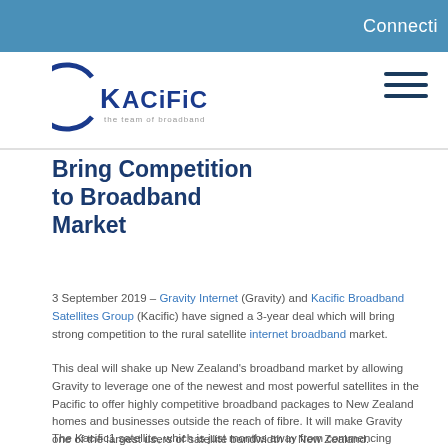Connecti
[Figure (logo): Kacific logo with tagline 'the team of broadband']
Bring Competition to Broadband Market
3 September 2019 – Gravity Internet (Gravity) and Kacific Broadband Satellites Group (Kacific) have signed a 3-year deal which will bring strong competition to the rural satellite internet broadband market.
This deal will shake up New Zealand's broadband market by allowing Gravity to leverage one of the newest and most powerful satellites in the Pacific to offer highly competitive broadband packages to New Zealand homes and businesses outside the reach of fibre. It will make Gravity one of the largest users of satellite bandwidth in New Zealand.
The Kacific1 satellite, which is just months away from commencing service, will have three high throughput beams pointed at New Zealand, providing coverage to anywhere on the